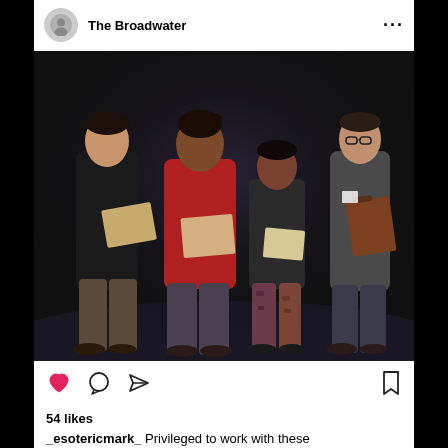The Broadwater
[Figure (photo): Four people standing on a dark stage reading from scripts/papers. From left: an Asian man in a black v-neck t-shirt holding tan paper, a woman in a red shirt holding paper, a shorter woman in a black tank top with patterned leggings, and a man in a gray long-sleeve shirt holding a clipboard.]
54 likes
_esotericmark_ Privileged to work with these